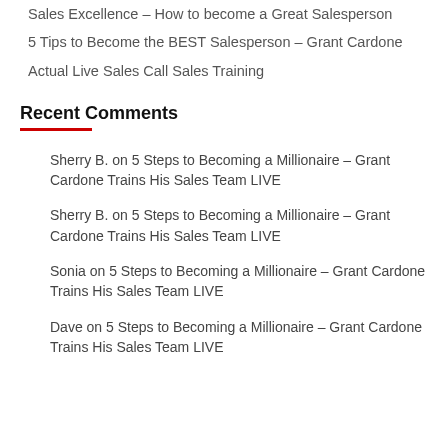Sales Excellence – How to become a Great Salesperson
5 Tips to Become the BEST Salesperson – Grant Cardone
Actual Live Sales Call Sales Training
Recent Comments
Sherry B. on 5 Steps to Becoming a Millionaire – Grant Cardone Trains His Sales Team LIVE
Sherry B. on 5 Steps to Becoming a Millionaire – Grant Cardone Trains His Sales Team LIVE
Sonia on 5 Steps to Becoming a Millionaire – Grant Cardone Trains His Sales Team LIVE
Dave on 5 Steps to Becoming a Millionaire – Grant Cardone Trains His Sales Team LIVE